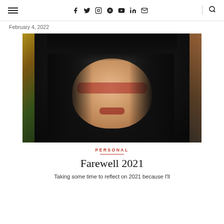≡  f  𝕏  ⊙  ℗  ▶  in  ✉  🔍
February 4, 2022
[Figure (photo): Portrait photo of a woman with black hair, red cat-eye glasses, and red lipstick. Background shows Christmas decorations on the left and a potted plant on the right.]
PERSONAL
Farewell 2021
Taking some time to reflect on 2021 because I'll